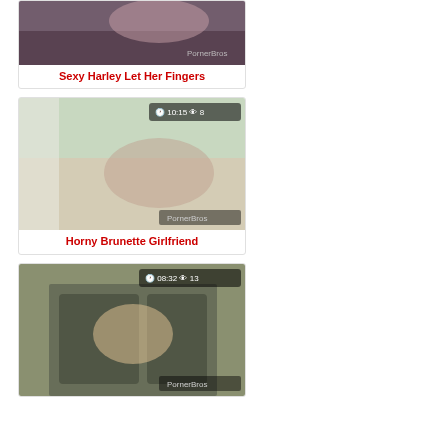[Figure (photo): Thumbnail image for video 'Sexy Harley Let Her Fingers' with PornerBros watermark]
Sexy Harley Let Her Fingers
[Figure (photo): Thumbnail image for video 'Horny Brunette Girlfriend' with duration 10:15 and 8 views, PornerBros watermark]
Horny Brunette Girlfriend
[Figure (photo): Thumbnail image for video with duration 08:32 and 13 views, PornerBros watermark]